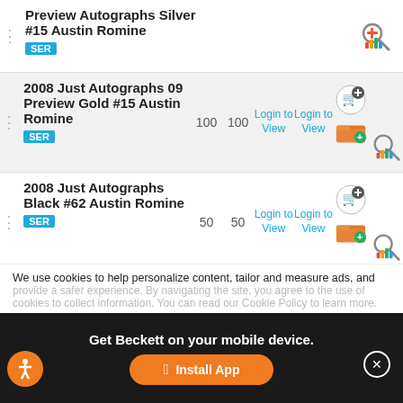Preview Autographs Silver #15 Austin Romine SER
2008 Just Autographs 09 Preview Gold #15 Austin Romine SER, 100, 100, Login to View, Login to View
2008 Just Autographs Black #62 Austin Romine SER, 50, 50, Login to View, Login to View
We use cookies to help personalize content, tailor and measure ads, and provide a safer experience. By navigating the site, you agree to the use of cookies to collect information. You can read our Cookie Policy to learn more.
Get Beckett on your mobile device.
Install App